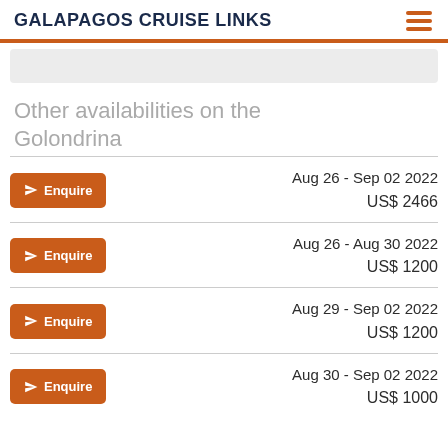GALAPAGOS CRUISE LINKS
Other availabilities on the Golondrina
| Action | Date Range | Price |
| --- | --- | --- |
| Enquire | Aug 26 - Sep 02 2022 | US$ 2466 |
| Enquire | Aug 26 - Aug 30 2022 | US$ 1200 |
| Enquire | Aug 29 - Sep 02 2022 | US$ 1200 |
| Enquire | Aug 30 - Sep 02 2022 | US$ 1000 |